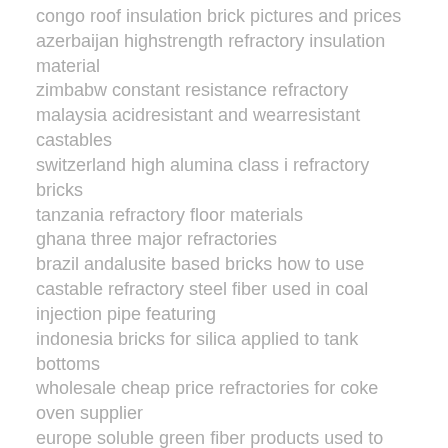congo roof insulation brick pictures and prices
azerbaijan highstrength refractory insulation material
zimbabw constant resistance refractory
malaysia acidresistant and wearresistant castables
switzerland high alumina class i refractory bricks
tanzania refractory floor materials
ghana three major refractories
brazil andalusite based bricks how to use
castable refractory steel fiber used in coal injection pipe featuring
indonesia bricks for silica applied to tank bottoms
wholesale cheap price refractories for coke oven supplier
europe soluble green fiber products used to build common industrial
algeria lightweight refractory
brazil fused cast azs block applied to working pool sidewall
ukraine refractory material refractory brick manufacturer
saudi arabia how much is a ton of white corundum brick
kazakhstan secondary high alumina refractory brick